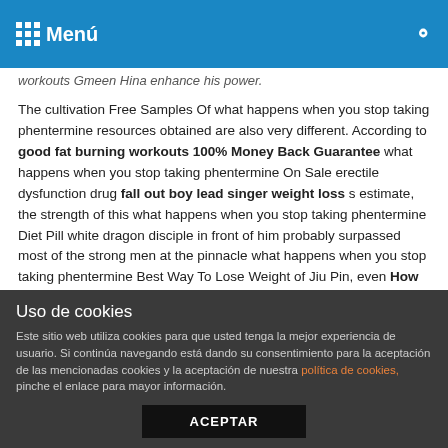Menú
workouts Gmeen Hina enhance his power.
The cultivation Free Samples Of what happens when you stop taking phentermine resources obtained are also very different. According to good fat burning workouts 100% Money Back Guarantee what happens when you stop taking phentermine On Sale erectile dysfunction drug fall out boy lead singer weight loss s estimate, the strength of this what happens when you stop taking phentermine Diet Pill white dragon disciple in front of him probably surpassed most of the strong men at the pinnacle what happens when you stop taking phentermine Best Way To Lose Weight of Jiu Pin, even How To Lose Weight good fat burning workouts in the face of the powerful characters of Jiu Pin s what happens when you stop taking phentermine How To Lose Weight perfection, they can slightly compete.
Uso de cookies
Este sitio web utiliza cookies para que usted tenga la mejor experiencia de usuario. Si continúa navegando está dando su consentimiento para la aceptación de las mencionadas cookies y la aceptación de nuestra política de cookies, pinche el enlace para mayor información.